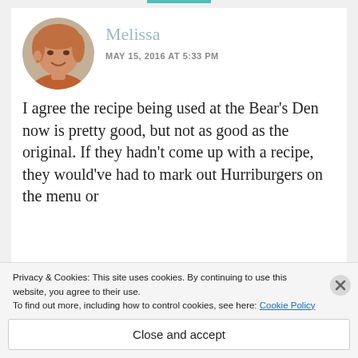[Figure (photo): Circular profile photo of a woman named Melissa with short reddish-brown hair, smiling.]
Melissa
MAY 15, 2016 AT 5:33 PM
I agree the recipe being used at the Bear's Den now is pretty good, but not as good as the original. If they hadn't come up with a recipe, they would've had to mark out Hurriburgers on the menu or
Privacy & Cookies: This site uses cookies. By continuing to use this website, you agree to their use.
To find out more, including how to control cookies, see here: Cookie Policy
Close and accept